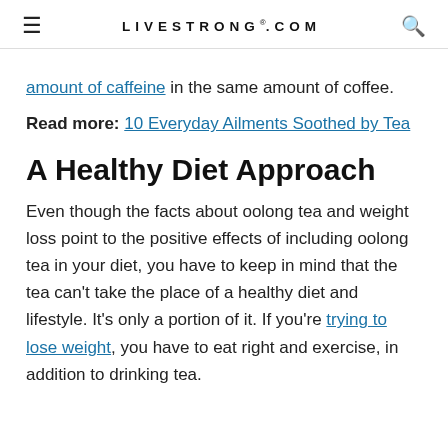≡  LIVESTRONG®.COM  🔍
amount of caffeine in the same amount of coffee.
Read more: 10 Everyday Ailments Soothed by Tea
A Healthy Diet Approach
Even though the facts about oolong tea and weight loss point to the positive effects of including oolong tea in your diet, you have to keep in mind that the tea can't take the place of a healthy diet and lifestyle. It's only a portion of it. If you're trying to lose weight, you have to eat right and exercise, in addition to drinking tea.